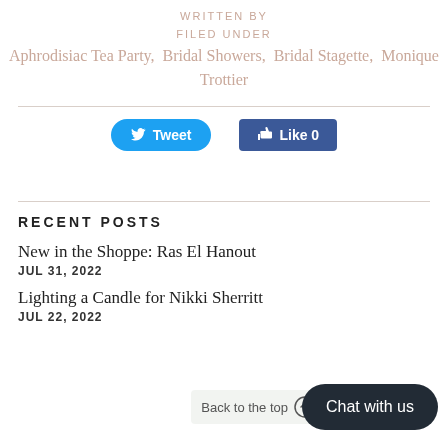WRITTEN BY
FILED UNDER
Aphrodisiac Tea Party,  Bridal Showers,  Bridal Stagette,  Monique Trottier
[Figure (other): Tweet and Like social media buttons]
RECENT POSTS
New in the Shoppe: Ras El Hanout
JUL 31, 2022
Lighting a Candle for Nikki Sherritt
JUL 22, 2022